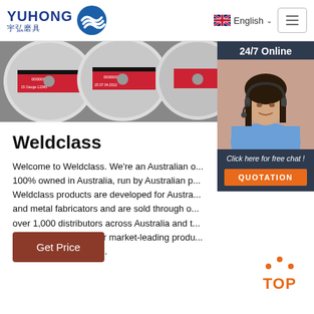[Figure (logo): Yuhong logo with blue wave icon, text YUHONG in blue and Chinese characters 宇弘磨具]
[Figure (screenshot): Language selector showing English with UK flag and dropdown arrow, plus hamburger menu button]
[Figure (photo): Product image strip showing cutting/grinding discs with red and black labels]
[Figure (photo): Side panel: 24/7 Online banner, photo of woman with headset, Click here for free chat text, QUOTATION orange button]
Weldclass
Welcome to Weldclass. We're an Australian o... 100% owned in Australia, run by Australian p... Weldclass products are developed for Austra... and metal fabricators and are sold through o... over 1,000 distributors across Australia and t... Pacific region. We offer market-leading produ... reliable supply with a ...
[Figure (other): Get Price brown/red button]
[Figure (other): TOP back-to-top button with orange dots arc above orange TOP text]